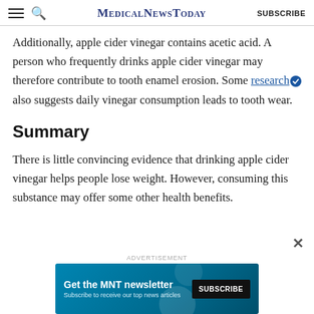MedicalNewsToday | SUBSCRIBE
Additionally, apple cider vinegar contains acetic acid. A person who frequently drinks apple cider vinegar may therefore contribute to tooth enamel erosion. Some research also suggests daily vinegar consumption leads to tooth wear.
Summary
There is little convincing evidence that drinking apple cider vinegar helps people lose weight. However, consuming this substance may offer some other health benefits.
[Figure (screenshot): Advertisement banner: Get the MNT newsletter. Subscribe to receive our top news articles. SUBSCRIBE button. Blue background with circular graphic element.]